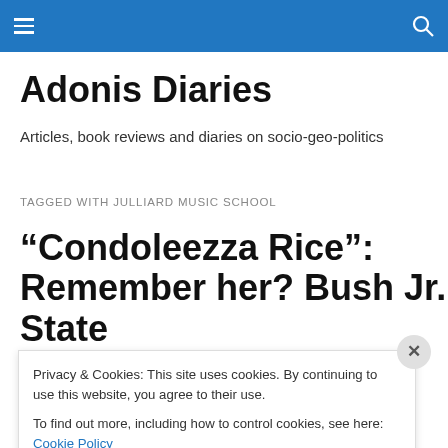Adonis Diaries — navigation bar with hamburger menu and search icon
Adonis Diaries
Articles, book reviews and diaries on socio-geo-politics
TAGGED WITH JULLIARD MUSIC SCHOOL
“Condoleezza Rice”: Remember her? Bush Jr. State
Privacy & Cookies: This site uses cookies. By continuing to use this website, you agree to their use.
To find out more, including how to control cookies, see here: Cookie Policy
Close and accept